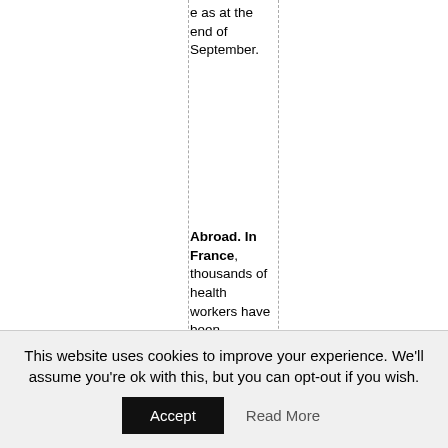e as at the end of September.
Abroad. In France, thousands of health workers have been suspended
This website uses cookies to improve your experience. We'll assume you're ok with this, but you can opt-out if you wish.